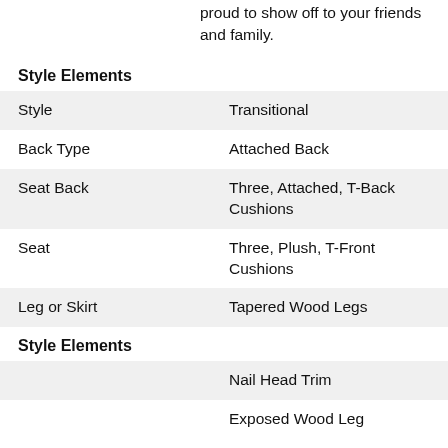proud to show off to your friends and family.
Style Elements
| Style | Transitional |
| Back Type | Attached Back |
| Seat Back | Three, Attached, T-Back Cushions |
| Seat | Three, Plush, T-Front Cushions |
| Leg or Skirt | Tapered Wood Legs |
Style Elements
|  | Nail Head Trim |
|  | Exposed Wood Leg |
Construction & Warranty
| Frame Construction | 5/4 hardwood rails; frames are 13/16 inch laminate hardwoods that have been double dowelled, glued and corner blocked for lasting stability. |